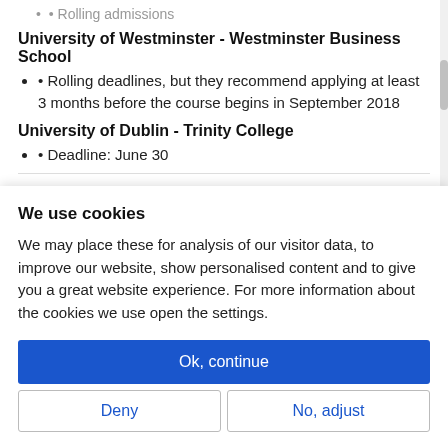• Rolling admissions
University of Westminster - Westminster Business School
• Rolling deadlines, but they recommend applying at least 3 months before the course begins in September 2018
University of Dublin - Trinity College
• Deadline: June 30
We use cookies
We may place these for analysis of our visitor data, to improve our website, show personalised content and to give you a great website experience. For more information about the cookies we use open the settings.
Ok, continue
Deny
No, adjust